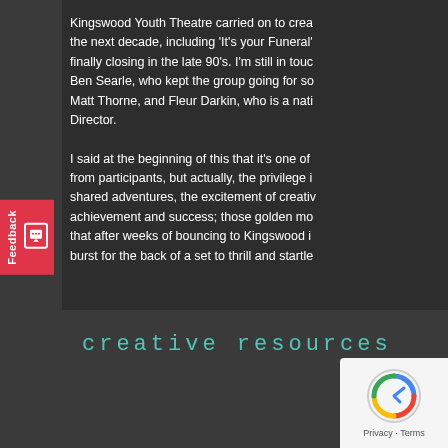Kingswood Youth Theatre carried on to create productions over the next decade, including 'It's your Funeral'... finally closing in the late 90's. I'm still in touch with Ben Searle, who kept the group going for so... Matt Thorne, and Fleur Darkin, who is a nati... Director.
I said at the beginning of this that it's one of ... from participants, but actually, the privilege is... shared adventures, the excitement of creativ... achievement and success; those golden mo... that after weeks of bouncing to Kingswood i... burst for the back of a set to thrill and startle...
creative resources
[Figure (other): reCAPTCHA widget with Privacy and Terms links]